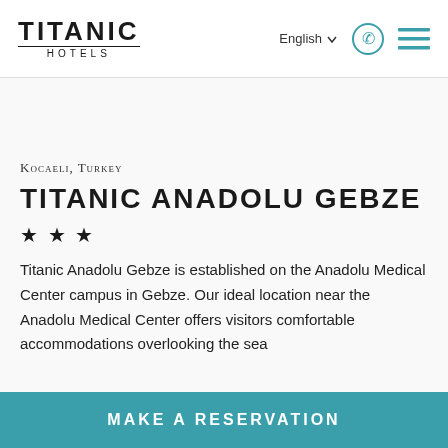TITANIC HOTELS | English | (phone) | (menu)
Kocaeli, Turkey
TITANIC ANADOLU GEBZE
★ ★ ★
Titanic Anadolu Gebze is established on the Anadolu Medical Center campus in Gebze. Our ideal location near the Anadolu Medical Center offers visitors comfortable accommodations overlooking the sea
MAKE A RESERVATION